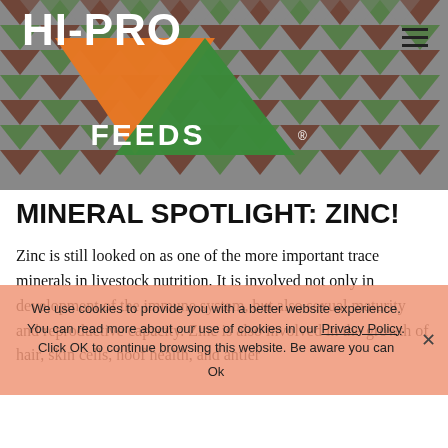[Figure (logo): Hi-Pro Feeds logo with orange downward triangle, green upward triangle, and white text on grey patterned background with brown/green triangle pattern]
MINERAL SPOTLIGHT: ZINC!
Zinc is still looked on as one of the more important trace minerals in livestock nutrition. It is involved not only in development of the immune system, but also sexual maturity and reproductive capacity. Zinc is also involved in the growth of hair, skin cells, hoof health, and antler
We use cookies to provide you with a better website experience. You can read more about our use of cookies in our Privacy Policy. Click OK to continue browsing this website. Be aware you can Ok